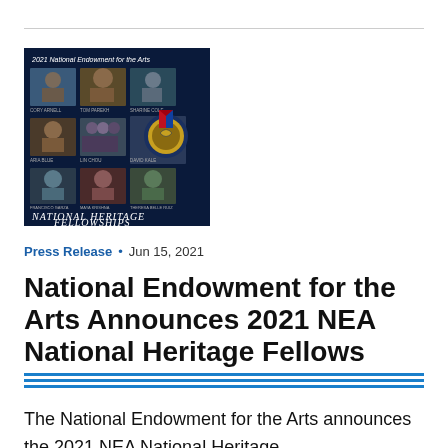[Figure (illustration): 2021 National Endowment for the Arts National Heritage Fellowships promotional image showing a grid of portrait photos of fellows with a medal and the text 'National Heritage Fellowships' on a dark navy blue background]
Press Release • Jun 15, 2021
National Endowment for the Arts Announces 2021 NEA National Heritage Fellows
The National Endowment for the Arts announces the 2021 NEA National Heritage